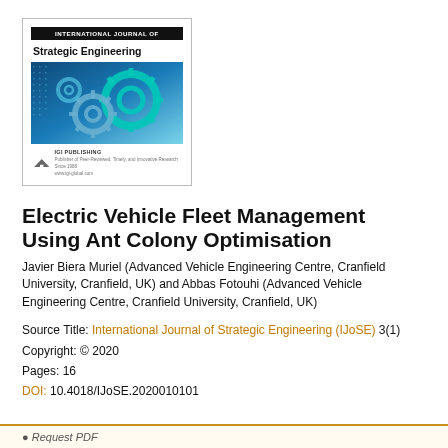[Figure (illustration): Journal cover of International Journal of Strategic Engineering (IGI Publishing) showing gears on a blue tech background]
Electric Vehicle Fleet Management Using Ant Colony Optimisation
Javier Biera Muriel (Advanced Vehicle Engineering Centre, Cranfield University, Cranfield, UK) and Abbas Fotouhi (Advanced Vehicle Engineering Centre, Cranfield University, Cranfield, UK)
Source Title: International Journal of Strategic Engineering (IJoSE) 3(1)
Copyright: © 2020
Pages: 16
DOI: 10.4018/IJoSE.2020010101